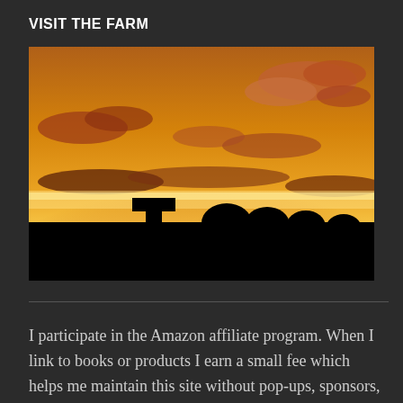VISIT THE FARM
[Figure (photo): A farm sunset photograph showing a golden sky with dramatic clouds and dark silhouettes of hay bales and trees along the horizon.]
I participate in the Amazon affiliate program. When I link to books or products I earn a small fee which helps me maintain this site without pop-ups, sponsors, or other advertising.